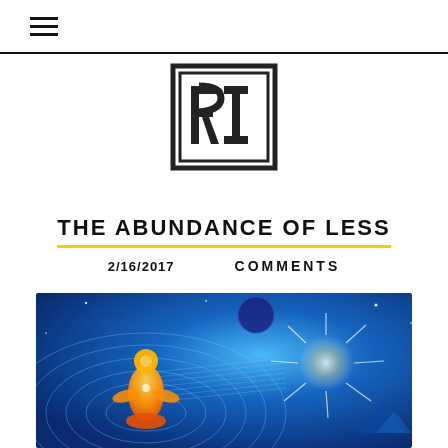≡ (hamburger menu icon)
[Figure (logo): Square logo with stylized letters RI inside a geometric box frame, black on white]
THE ABUNDANCE OF LESS
2/16/2017
COMMENTS
[Figure (illustration): Colorful spiritual/cosmic painting showing a meditating golden human figure surrounded by blue energy grid patterns, a planet, and a radiant starburst of white light with pyramids in background]